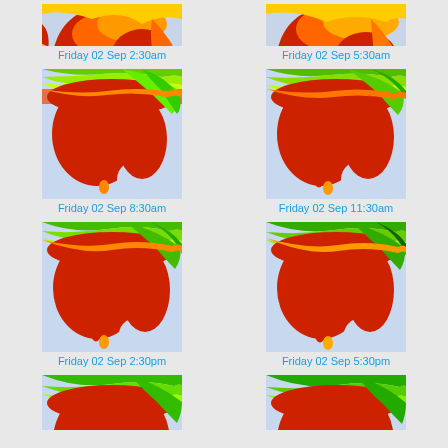[Figure (map): Weather/atmospheric map of South Asia showing wind or temperature patterns with red, orange, yellow, green color bands over India subcontinent, partial crop at top]
Friday 02 Sep 2:30am
[Figure (map): Weather/atmospheric map of South Asia showing wind or temperature patterns with red, orange, yellow, green color bands over India subcontinent, partial crop at top]
Friday 02 Sep 5:30am
[Figure (map): Weather/atmospheric map of South Asia showing wind or temperature patterns with red, orange, yellow, green color bands over India subcontinent - 8:30am]
Friday 02 Sep 8:30am
[Figure (map): Weather/atmospheric map of South Asia showing wind or temperature patterns with red, orange, yellow, green color bands over India subcontinent - 11:30am]
Friday 02 Sep 11:30am
[Figure (map): Weather/atmospheric map of South Asia showing wind or temperature patterns with red, orange, yellow, green color bands over India subcontinent - 2:30pm]
Friday 02 Sep 2:30pm
[Figure (map): Weather/atmospheric map of South Asia showing wind or temperature patterns with red, orange, yellow, green color bands over India subcontinent - 5:30pm]
Friday 02 Sep 5:30pm
[Figure (map): Weather/atmospheric map of South Asia showing wind or temperature patterns - partial crop at bottom]
[Figure (map): Weather/atmospheric map of South Asia showing wind or temperature patterns - partial crop at bottom]